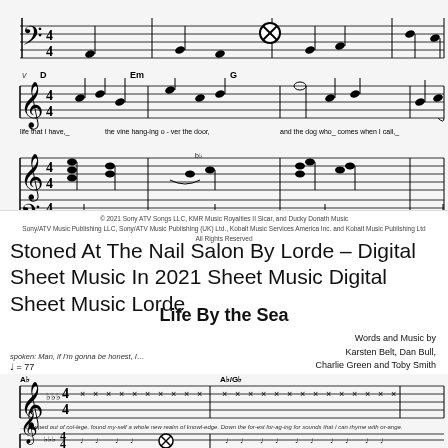[Figure (illustration): Sheet music excerpt showing piano/vocal staff with chord symbols D, Em, G and lyrics 'life that I have, the vine hanging o-ver the door, and the dog who comes when I call,']
© 2021 Sony ATV Songs LLC, KMR Music Royalties II Sicar, and Ducky Donath Music
Sony/ATV Music Publishing LLC, Sony/ATV Music Publishing (UK) Ltd., Kobalt Music Services America Inc. and Kobalt Music Publishing Ltd
All Rights Reserved
Stoned At The Nail Salon By Lorde – Digital Sheet Music In 2021 Sheet Music Digital Sheet Music Lorde
Life By the Sea
Words and Music by
Karsten Belt, Dan Bull,
Charlie Green and Toby Smith
spoken: Man, if I'm gonna be honest, I…
♩ = 77
[Figure (illustration): Sheet music excerpt showing vocal and piano staves with flat key signature, 4/4 time, chord symbols Ab and Ab/Gb, x noteheads (spoken/rhythmic notation), and lyrics 'dropped out of col-lege, found my-self a whole new realm of knowl-edge. Down the for-est for-ag-ing for sounds that I can rhyme with or-ange.']